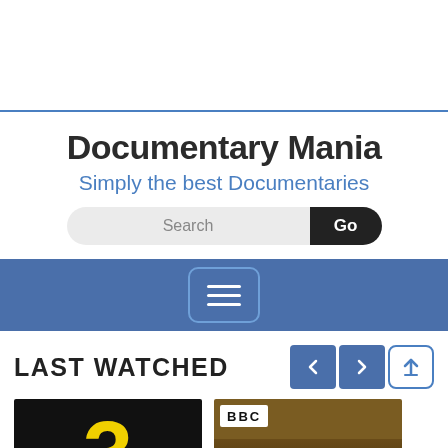[Figure (screenshot): Top white space area with blue horizontal divider line at bottom]
Documentary Mania
Simply the best Documentaries
[Figure (screenshot): Search bar with 'Search' placeholder text and 'Go' button]
[Figure (screenshot): Blue navigation bar with hamburger menu icon (three horizontal lines in rounded rectangle)]
LAST WATCHED
[Figure (screenshot): Two documentary thumbnail images: left shows a yellow number on dark background, right shows BBC logo on a nature/cave scene background]
[Figure (screenshot): Navigation arrow buttons (left and right) in blue, and a scroll-up button with upward arrow]